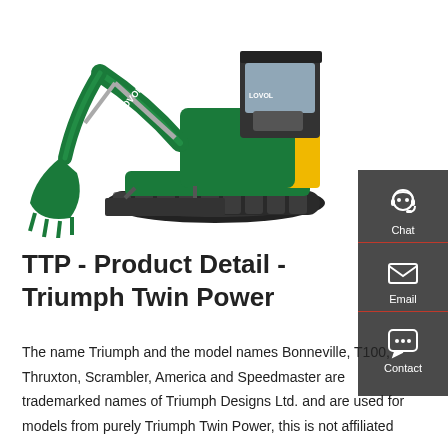[Figure (photo): Green and yellow Lovol mini excavator with bucket arm and dozer blade, on white background]
[Figure (infographic): Dark grey sidebar with three contact options: Chat (headset icon), Email (envelope icon), Contact (speech bubble icon), each separated by a red line]
TTP - Product Detail - Triumph Twin Power
The name Triumph and the model names Bonneville, T100, Thruxton, Scrambler, America and Speedmaster are trademarked names of Triumph Designs Ltd. and are used for models from purely Triumph Twin Power, this is not affiliated...